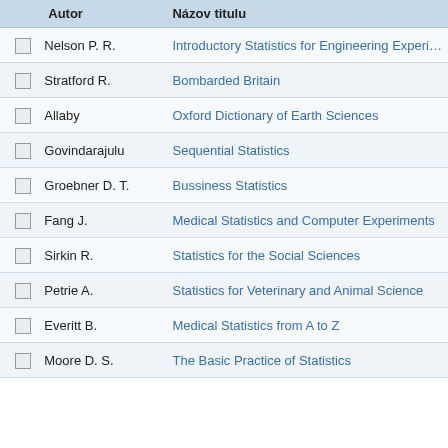|  | Autor | Názov titulu |
| --- | --- | --- |
|  | Nelson P. R. | Introductory Statistics for Engineering Experi… |
|  | Stratford R. | Bombarded Britain |
|  | Allaby | Oxford Dictionary of Earth Sciences |
|  | Govindarajulu | Sequential Statistics |
|  | Groebner D. T. | Bussiness Statistics |
|  | Fang J. | Medical Statistics and Computer Experiments |
|  | Sirkin R. | Statistics for the Social Sciences |
|  | Petrie A. | Statistics for Veterinary and Animal Science |
|  | Everitt B. | Medical Statistics from A to Z |
|  | Moore D. S. | The Basic Practice of Statistics |